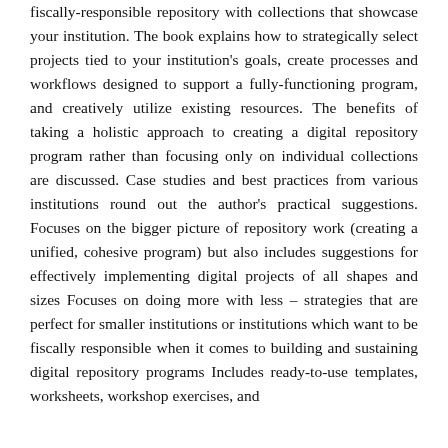fiscally-responsible repository with collections that showcase your institution. The book explains how to strategically select projects tied to your institution's goals, create processes and workflows designed to support a fully-functioning program, and creatively utilize existing resources. The benefits of taking a holistic approach to creating a digital repository program rather than focusing only on individual collections are discussed. Case studies and best practices from various institutions round out the author's practical suggestions. Focuses on the bigger picture of repository work (creating a unified, cohesive program) but also includes suggestions for effectively implementing digital projects of all shapes and sizes Focuses on doing more with less – strategies that are perfect for smaller institutions or institutions which want to be fiscally responsible when it comes to building and sustaining digital repository programs Includes ready-to-use templates, worksheets, workshop exercises, and